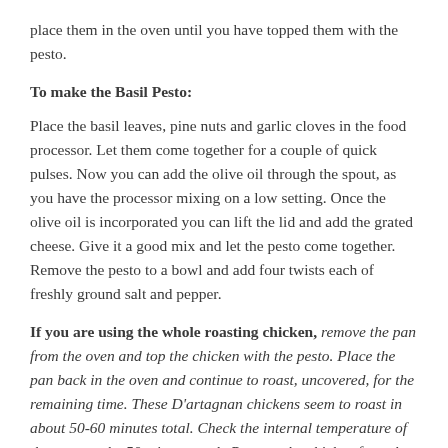place them in the oven until you have topped them with the pesto.
To make the Basil Pesto:
Place the basil leaves, pine nuts and garlic cloves in the food processor. Let them come together for a couple of quick pulses. Now you can add the olive oil through the spout, as you have the processor mixing on a low setting. Once the olive oil is incorporated you can lift the lid and add the grated cheese. Give it a good mix and let the pesto come together. Remove the pesto to a bowl and add four twists each of freshly ground salt and pepper.
If you are using the whole roasting chicken, remove the pan from the oven and top the chicken with the pesto. Place the pan back in the oven and continue to roast, uncovered, for the remaining time. These D'artagnan chickens seem to roast in about 50-60 minutes total. Check the internal temperature of the meat at the 50 minute mark. Remove the chicken from the oven when it reaches 162 degrees, and set it on the counter covered with foil, for ten minutes. This will allow the temperature to rise to 165 degrees and will keep the meat...